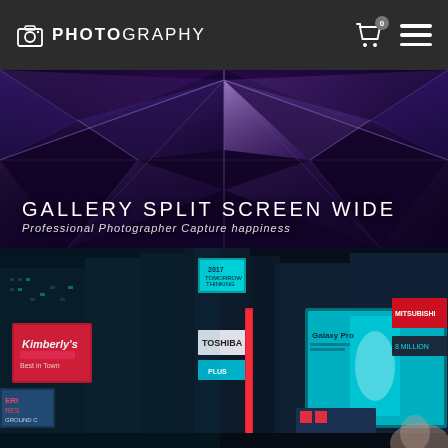PHOTOGRAPHY
[Figure (photo): Architectural geometric ceiling/roof with triangular steel/glass panels illuminated in purple and blue tones, viewed from below]
GALLERY SPLIT SCREEN WIDE
Professional Photographer Capture happiness
[Figure (photo): Nighttime cityscape of Times Square New York with neon billboards including Toshiba and Kimberly's signs, illuminated in teal/cyan and red tones]